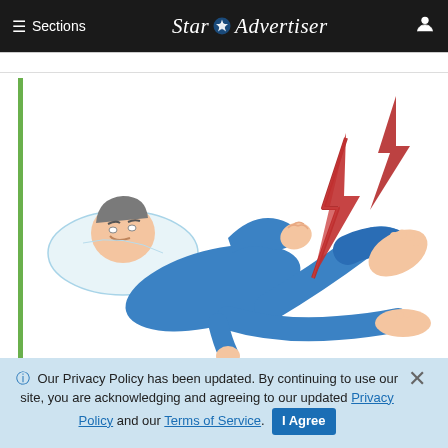≡ Sections   Star ✦ Advertiser   [user icon]
[Figure (illustration): Illustration of a person lying in bed wearing blue pajamas, grimacing in pain, with one leg raised and red lightning bolt symbols indicating pain in the foot/leg area — depicting symptoms of amyloidosis.]
Warning Signs of Amyloidosis Shouldn't
ⓘ Our Privacy Policy has been updated. By continuing to use our site, you are acknowledging and agreeing to our updated Privacy Policy and our Terms of Service. I Agree